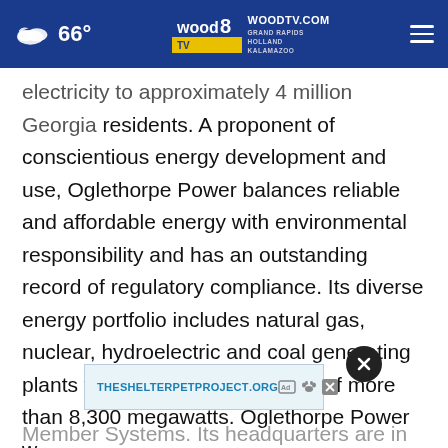66° | WOODTV.COM GRAND RAPIDS HOLLAND KALAMAZOO | wood 8 TV
electricity to approximately 4 million Georgia residents. A proponent of conscientious energy development and use, Oglethorpe Power balances reliable and affordable energy with environmental responsibility and has an outstanding record of regulatory compliance. Its diverse energy portfolio includes natural gas, nuclear, hydroelectric and coal generating plants with a combined capacity of more than 8,300 megawatts. Oglethorpe Power was estab[lished by its] Member Systems. Its headquarters are in Tucker
[Figure (other): Advertisement banner for THESHELTERPETPROJECT.ORG with close button (X) and ad indicator icons]